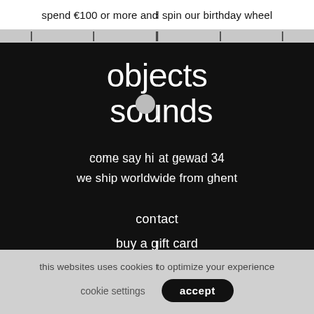spend €100 or more and spin our birthday wheel
objects & sounds
come say hi at gewad 34
we ship worldwide from ghent
contact
buy a gift card
shipping & returns
cookie policy
privacy policy
this websites uses cookies to optimize your experience
cookie settings
accept